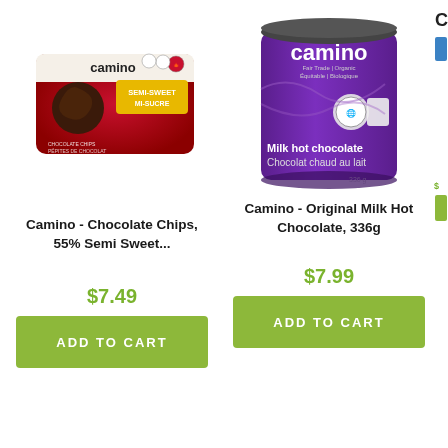[Figure (photo): Camino Semi-Sweet Chocolate Chips product package, red packaging with camino logo]
Camino - Chocolate Chips, 55% Semi Sweet...
$7.49
ADD TO CART
[Figure (photo): Camino Original Milk Hot Chocolate 336g purple tin can]
Camino - Original Milk Hot Chocolate, 336g
$7.99
ADD TO CART